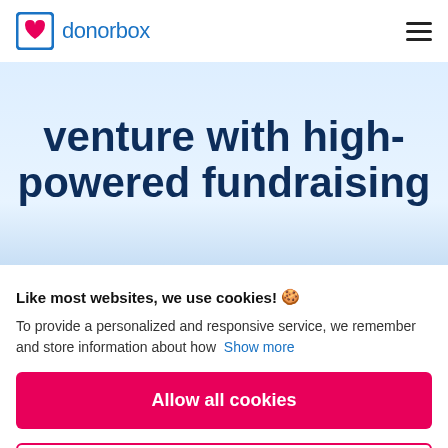donorbox
venture with high-powered fundraising
Like most websites, we use cookies! 🍪
To provide a personalized and responsive service, we remember and store information about how  Show more
Allow all cookies
Use only necessary cookies
More options